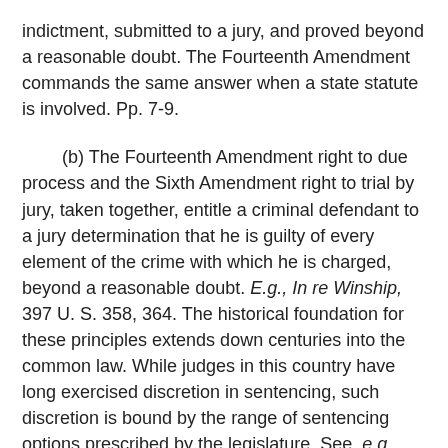indictment, submitted to a jury, and proved beyond a reasonable doubt. The Fourteenth Amendment commands the same answer when a state statute is involved. Pp. 7-9.
(b) The Fourteenth Amendment right to due process and the Sixth Amendment right to trial by jury, taken together, entitle a criminal defendant to a jury determination that he is guilty of every element of the crime with which he is charged, beyond a reasonable doubt. E.g., In re Winship, 397 U. S. 358, 364. The historical foundation for these principles extends down centuries into the common law. While judges in this country have long exercised discretion in sentencing, such discretion is bound by the range of sentencing options prescribed by the legislature. See, e.g., United States v. Tucker, 404 U. S. 443, 447. The historic inseparability of verdict and judgment and the consistent limitation on judges' discretion highlight the novelty of a scheme that removes the jury from the determination of a fact that